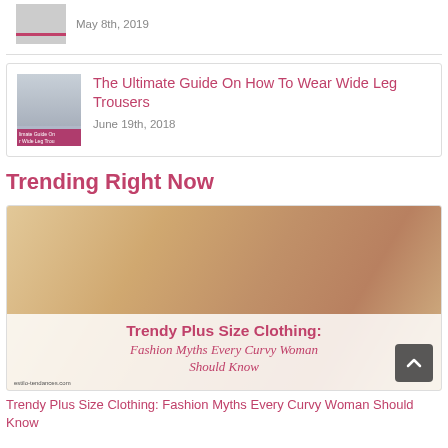[Figure (photo): Thumbnail image placeholder with pink/red horizontal line below]
May 8th, 2019
[Figure (photo): Thumbnail image for Wide Leg Trousers article showing woman in wide leg trousers with pink overlay text]
The Ultimate Guide On How To Wear Wide Leg Trousers
June 19th, 2018
Trending Right Now
[Figure (photo): Photo of two blonde women, one whispering to the other, with overlay text reading 'Trendy Plus Size Clothing: Fashion Myths Every Curvy Woman Should Know' and watermark 'estilo-tendances.com']
Trendy Plus Size Clothing: Fashion Myths Every Curvy Woman Should Know